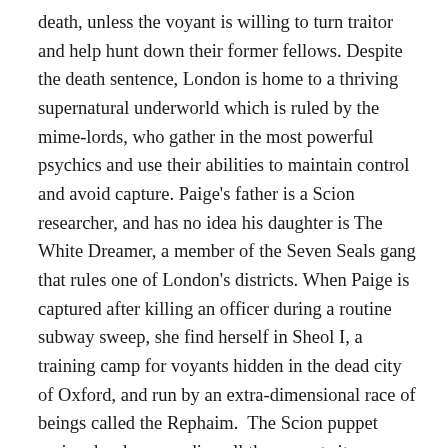death, unless the voyant is willing to turn traitor and help hunt down their former fellows. Despite the death sentence, London is home to a thriving supernatural underworld which is ruled by the mime-lords, who gather in the most powerful psychics and use their abilities to maintain control and avoid capture. Paige's father is a Scion researcher, and has no idea his daughter is The White Dreamer, a member of the Seven Seals gang that rules one of London's districts. When Paige is captured after killing an officer during a routine subway sweep, she find herself in Sheol I, a training camp for voyants hidden in the dead city of Oxford, and run by an extra-dimensional race of beings called the Rephaim.  The Scion puppet regime has been sending all the voyants it can capture to Sheol I, where the Rephaim train them to fight the Emim, a ravenous race of inter-dimensional predators. Prized in her gang for the rarity of her power as dreamwalker, Paige